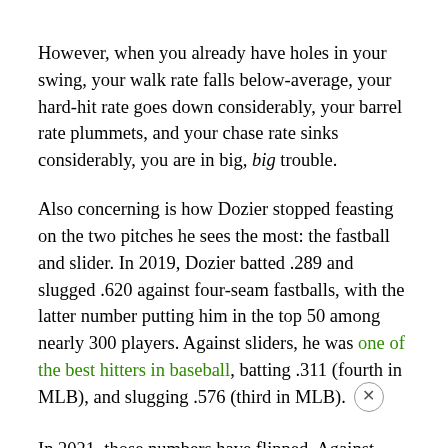However, when you already have holes in your swing, your walk rate falls below-average, your hard-hit rate goes down considerably, your barrel rate plummets, and your chase rate sinks considerably, you are in big, big trouble.
Also concerning is how Dozier stopped feasting on the two pitches he sees the most: the fastball and slider. In 2019, Dozier batted .289 and slugged .620 against four-seam fastballs, with the latter number putting him in the top 50 among nearly 300 players. Against sliders, he was one of the best hitters in baseball, batting .311 (fourth in MLB), and slugging .576 (third in MLB).
In 2021, those numbers have flipped. Against fastballs, Dozier is batting just .229 and slugging .441. Against